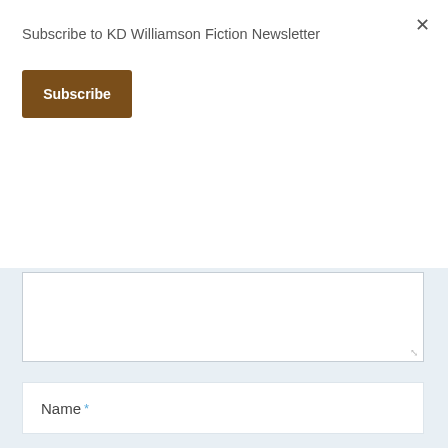Subscribe to KD Williamson Fiction Newsletter
Subscribe
[Figure (screenshot): A textarea input field with resize handle]
Name *
Email *
Website